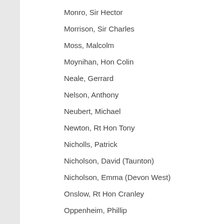Monro, Sir Hector
Morrison, Sir Charles
Moss, Malcolm
Moynihan, Hon Colin
Neale, Gerrard
Nelson, Anthony
Neubert, Michael
Newton, Rt Hon Tony
Nicholls, Patrick
Nicholson, David (Taunton)
Nicholson, Emma (Devon West)
Onslow, Rt Hon Cranley
Oppenheim, Phillip
Paice, James
Patten, Rt Hon Chris (Bath)
Patten, John (Oxford W)
Pawsey, James